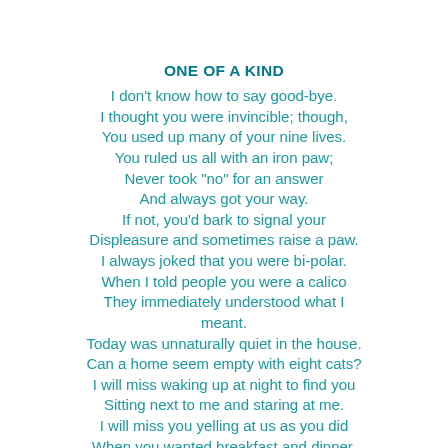ONE OF A KIND
I don't know how to say good-bye.
I thought you were invincible; though,
You used up many of your nine lives.
You ruled us all with an iron paw;
Never took "no" for an answer
And always got your way.
If not, you'd bark to signal your
Displeasure and sometimes raise a paw.
I always joked that you were bi-polar.
When I told people you were a calico
They immediately understood what I meant.
Today was unnaturally quiet in the house.
Can a home seem empty with eight cats?
I will miss waking up at night to find you
Sitting next to me and staring at me.
I will miss you yelling at us as you did
When you wanted breakfast and dinner.
I will miss watching you lounging and snoozing
On the sofa in the summer sun of...